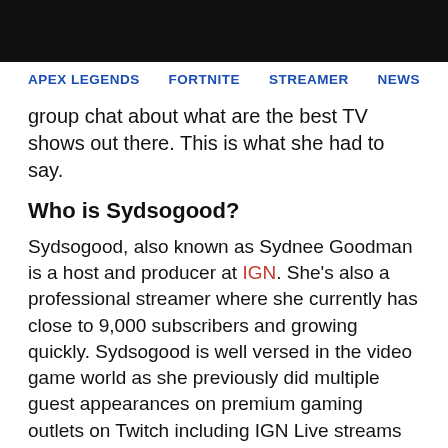APEX LEGENDS   FORTNITE   STREAMER   NEWS
group chat about what are the best TV shows out there. This is what she had to say.
Who is Sydsogood?
Sydsogood, also known as Sydnee Goodman is a host and producer at IGN. She's also a professional streamer where she currently has close to 9,000 subscribers and growing quickly. Sydsogood is well versed in the video game world as she previously did multiple guest appearances on premium gaming outlets on Twitch including IGN Live streams to showcase newly released content.